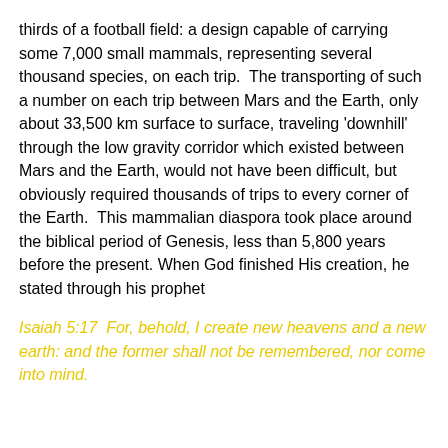thirds of a football field: a design capable of carrying some 7,000 small mammals, representing several thousand species, on each trip.  The transporting of such a number on each trip between Mars and the Earth, only about 33,500 km surface to surface, traveling 'downhill' through the low gravity corridor which existed between Mars and the Earth, would not have been difficult, but obviously required thousands of trips to every corner of the Earth.  This mammalian diaspora took place around the biblical period of Genesis, less than 5,800 years before the present. When God finished His creation, he stated through his prophet
Isaiah 5:17  For, behold, I create new heavens and a new earth: and the former shall not be remembered, nor come into mind.